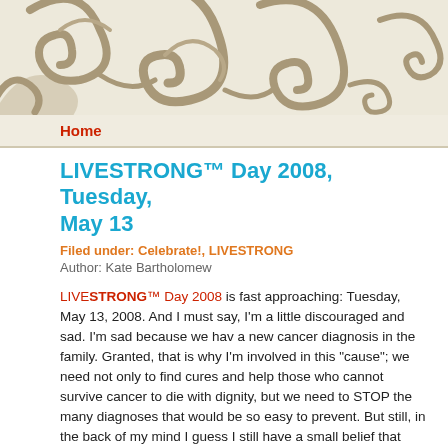[Figure (illustration): Decorative swirl/flourish pattern in grey-brown tones on a beige/cream background, serving as the page header background decoration.]
Home
LIVESTRONG™ Day 2008, Tuesday, May 13
Filed under: Celebrate!, LIVESTRONG
Author: Kate Bartholomew
LIVESTRONG™ Day 2008 is fast approaching: Tuesday, May 13, 2008. And I must say, I'm a little discouraged and sad. I'm sad because we have a new cancer diagnosis in the family. Granted, that is why I'm involved in this "cause"; we need not only to find cures and help those who cannot survive cancer to die with dignity, but we need to STOP the many diagnoses that would be so easy to prevent. But still, in the back of my mind I guess I still have a small belief that every family has a "cancer quota" and we are FAR BEYOND IT.
I am discouraged, because I had a plan for a LIVESTRONG™ Day 2008 activity that was all about disseminating information and awareness –